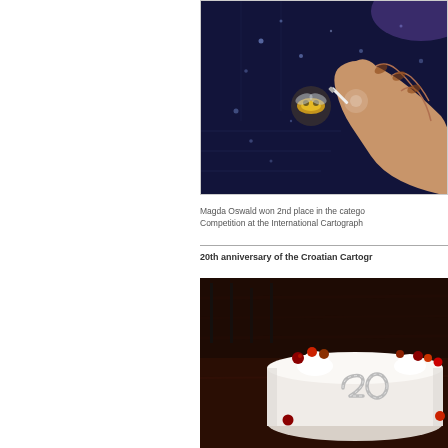[Figure (photo): A hand reaching toward a glowing digital screen or map display with bubbles and light effects, dark blue background]
Magda Oswald won 2nd place in the category Competition at the International Cartograph...
20th anniversary of the Croatian Cartogr...
[Figure (photo): A white celebration cake decorated with whipped cream and cherries/berries, with silver number 20 on top, dark wood table background]